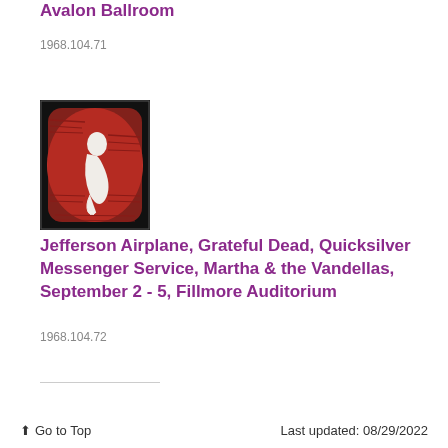Avalon Ballroom
1968.104.71
[Figure (photo): Concert poster with red background, white figure of a person curled/crouching, surrounded by dense psychedelic text. Poster for Jefferson Airplane, Grateful Dead, Quicksilver Messenger Service, Martha & the Vandellas at Fillmore Auditorium.]
Jefferson Airplane, Grateful Dead, Quicksilver Messenger Service, Martha & the Vandellas, September 2 - 5, Fillmore Auditorium
1968.104.72
↑ Go to Top    Last updated: 08/29/2022